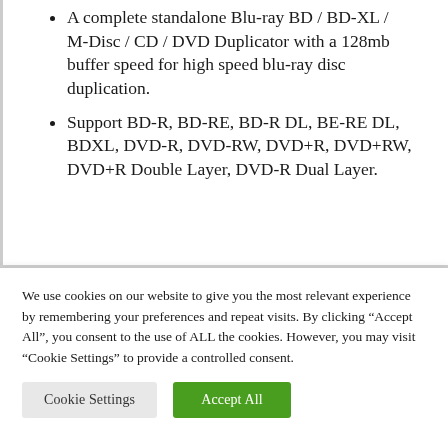A complete standalone Blu-ray BD / BD-XL / M-Disc / CD / DVD Duplicator with a 128mb buffer speed for high speed blu-ray disc duplication.
Support BD-R, BD-RE, BD-R DL, BE-RE DL, BDXL, DVD-R, DVD-RW, DVD+R, DVD+RW, DVD+R Double Layer, DVD-R Dual Layer.
We use cookies on our website to give you the most relevant experience by remembering your preferences and repeat visits. By clicking "Accept All", you consent to the use of ALL the cookies. However, you may visit "Cookie Settings" to provide a controlled consent.